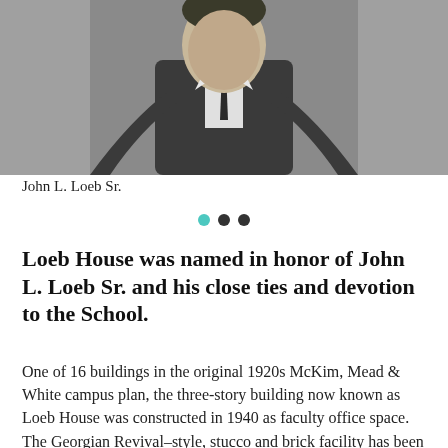[Figure (photo): Black and white portrait photograph of John L. Loeb Sr., a man in a suit and tie, cropped at the chest, against a gray background.]
John L. Loeb Sr.
[Figure (other): Three navigation dots: teal, dark gray, dark gray.]
Loeb House was named in honor of John L. Loeb Sr. and his close ties and devotion to the School.
One of 16 buildings in the original 1920s McKim, Mead & White campus plan, the three-story building now known as Loeb House was constructed in 1940 as faculty office space. The Georgian Revival–style, stucco and brick facility has been repurposed several times and was renovated in the 1960s and again in 1985, when it became the first building on campus to be wired for networked personal computers. In 2016